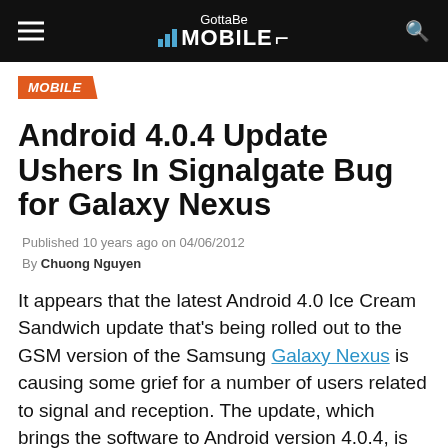GottaBe MOBILE
MOBILE
Android 4.0.4 Update Ushers In Signalgate Bug for Galaxy Nexus
Published 10 years ago on 04/06/2012
By Chuong Nguyen
It appears that the latest Android 4.0 Ice Cream Sandwich update that's being rolled out to the GSM version of the Samsung Galaxy Nexus is causing some grief for a number of users related to signal and reception. The update, which brings the software to Android version 4.0.4, is causing a sudden and high drop off in signal strength, especially when the device enters standby.